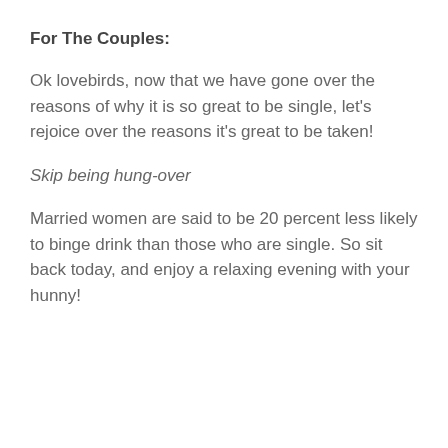For The Couples:
Ok lovebirds, now that we have gone over the reasons of why it is so great to be single, let's rejoice over the reasons it's great to be taken!
Skip being hung-over
Married women are said to be 20 percent less likely to binge drink than those who are single. So sit back today, and enjoy a relaxing evening with your hunny!